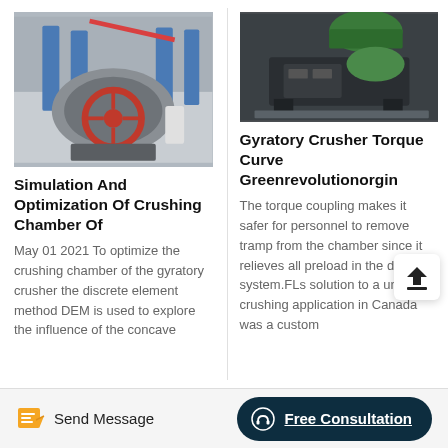[Figure (photo): Cone crusher machine in a factory setting with blue columns and red circular component]
Simulation And Optimization Of Crushing Chamber Of
May 01 2021 To optimize the crushing chamber of the gyratory crusher the discrete element method DEM is used to explore the influence of the concave
[Figure (photo): Industrial rubber/gyratory crusher machine, black metal structure with green component on top, in warehouse]
Gyratory Crusher Torque Curve Greenrevolutionorgin
The torque coupling makes it safer for personnel to remove tramp from the chamber since it relieves all preload in the drive system.FLs solution to a unique crushing application in Canada was a custom
Send Message | Free Consultation